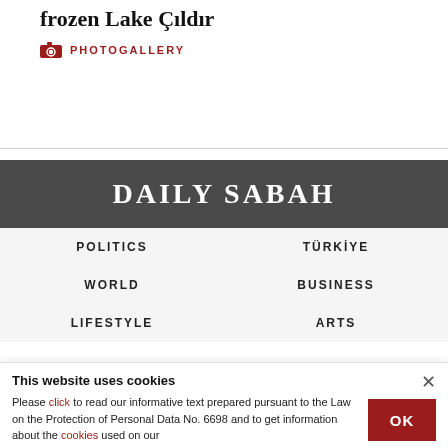frozen Lake Çıldır
PHOTOGALLERY
DAILY SABAH
POLITICS
TÜRKİYE
WORLD
BUSINESS
LIFESTYLE
ARTS
This website uses cookies
Please click to read our informative text prepared pursuant to the Law on the Protection of Personal Data No. 6698 and to get information about the cookies used on our